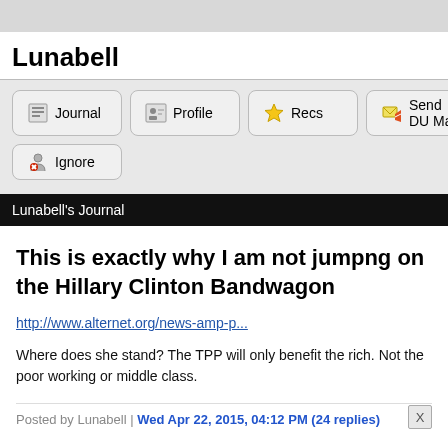Lunabell
[Figure (infographic): Navigation buttons: Journal, Profile, Recs, Send DU Mail, Ignore]
Lunabell's Journal
This is exactly why I am not jumpng on the Hillary Clinton Bandwagon
http://www.alternet.org/news-amp-p...
Where does she stand? The TPP will only benefit the rich. Not the poor working or middle class.
Posted by Lunabell | Wed Apr 22, 2015, 04:12 PM (24 replies)